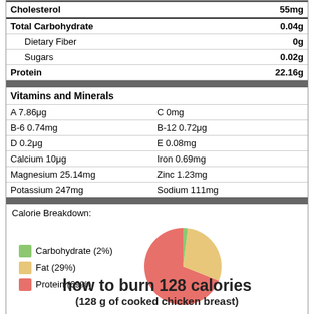| Cholesterol | 55mg |
| Total Carbohydrate | 0.04g |
| Dietary Fiber | 0g |
| Sugars | 0.02g |
| Protein | 22.16g |
Vitamins and Minerals
| A 7.86μg | C 0mg |
| B-6 0.74mg | B-12 0.72μg |
| D 0.2μg | E 0.08mg |
| Calcium 10μg | Iron 0.69mg |
| Magnesium 25.14mg | Zinc 1.23mg |
| Potassium 247mg | Sodium 111mg |
Calorie Breakdown:
[Figure (pie-chart): Calorie Breakdown]
Fat 9 • Carbohydrate 4 • Protein 4
how to burn 128 calories
(128 g of cooked chicken breast)